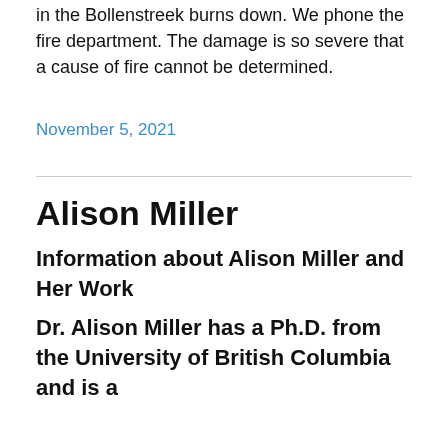in the Bollenstreek burns down. We phone the fire department. The damage is so severe that a cause of fire cannot be determined.
November 5, 2021
Alison Miller
Information about Alison Miller and Her Work
Dr. Alison Miller has a Ph.D. from the University of British Columbia and is a